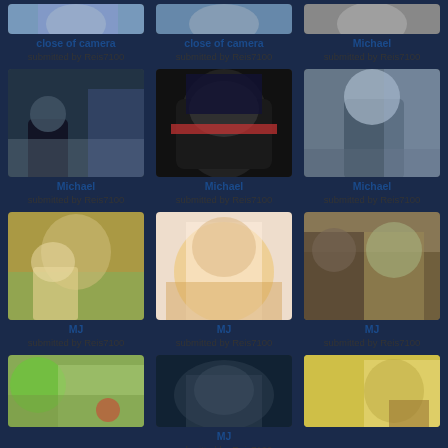[Figure (photo): Partial top photo - close of camera]
close of camera
submitted by Reis7100
[Figure (photo): Partial top photo - close of camera]
close of camera
submitted by Reis7100
[Figure (photo): Partial top photo - Michael]
Michael
submitted by Reis7100
[Figure (photo): Person in black hoodie in store - Michael]
Michael
submitted by Reis7100
[Figure (photo): Person with dark sunglasses and hat - Michael]
Michael
submitted by Reis7100
[Figure (photo): Michael Jackson smiling - Michael]
Michael
submitted by Reis7100
[Figure (photo): Person holding baby outdoors - MJ]
MJ
submitted by Reis7100
[Figure (photo): Person bowing or dancing - MJ]
MJ
submitted by Reis7100
[Figure (photo): MJ in gold jacket with another person - MJ]
MJ
submitted by Reis7100
[Figure (photo): Carnival/amusement park scene - MJ]
[Figure (photo): Person lying down dark photo - MJ]
MJ
submitted by Reis7100
[Figure (photo): Person holding LIFE magazine - MJ]